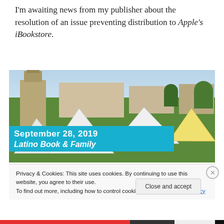I'm awaiting news from my publisher about the resolution of an issue preventing distribution to Apple's iBookstore.
[Figure (photo): Outdoor fair/festival scene with tents, crowds, clock tower building. Banner overlay reads 'September 28, 2019 / Latino Book & Family']
Privacy & Cookies: This site uses cookies. By continuing to use this website, you agree to their use.
To find out more, including how to control cookies, see here: Cookie Policy